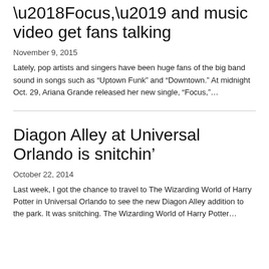'Focus,' and music video get fans talking
November 9, 2015
Lately, pop artists and singers have been huge fans of the big band sound in songs such as “Uptown Funk” and “Downtown.” At midnight Oct. 29, Ariana Grande released her new single, “Focus,”...
Diagon Alley at Universal Orlando is snitchin’
October 22, 2014
Last week, I got the chance to travel to The Wizarding World of Harry Potter in Universal Orlando to see the new Diagon Alley addition to the park. It was snitching. The Wizarding World of Harry Potter...